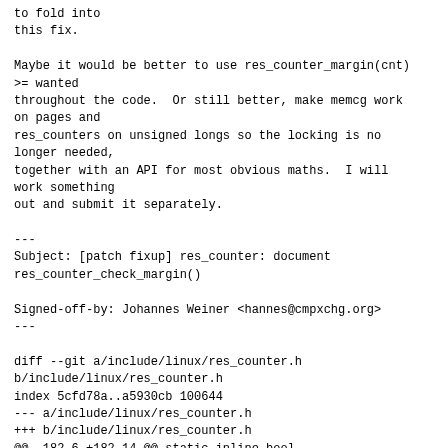to fold into
this fix.

Maybe it would be better to use res_counter_margin(cnt) >= wanted
throughout the code.  Or still better, make memcg work on pages and
res_counters on unsigned longs so the locking is no longer needed,
together with an API for most obvious maths.  I will work something
out and submit it separately.

---
Subject: [patch fixup] res_counter: document res_counter_check_margin()

Signed-off-by: Johannes Weiner <hannes@cmpxchg.org>
---

diff --git a/include/linux/res_counter.h b/include/linux/res_counter.h
index 5cfd78a..a5930cb 100644
--- a/include/linux/res_counter.h
+++ b/include/linux/res_counter.h
@@ -182,6 +182,14 @@ static inline bool res_counter_check_under_limit(struct res_counter *cnt)
        return ret;
 }